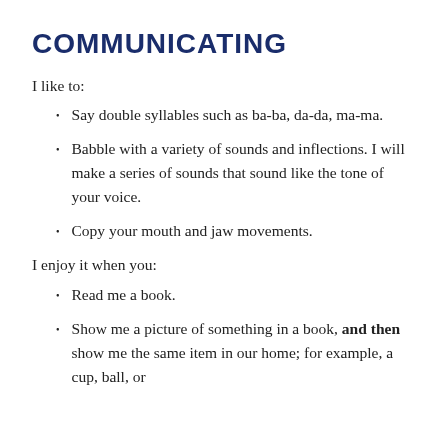COMMUNICATING
I like to:
Say double syllables such as ba-ba, da-da, ma-ma.
Babble with a variety of sounds and inflections. I will make a series of sounds that sound like the tone of your voice.
Copy your mouth and jaw movements.
I enjoy it when you:
Read me a book.
Show me a picture of something in a book, and then show me the same item in our home; for example, a cup, ball, or